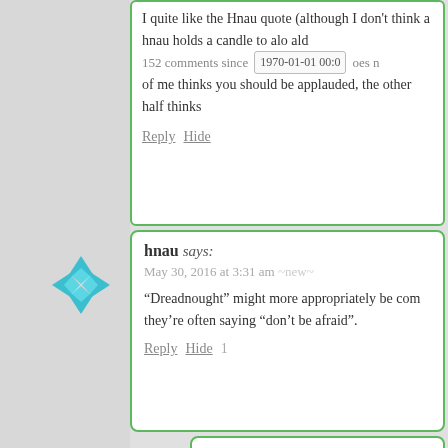I quite like the Hnau quote (although I don't think it holds a candle to ald
152 comments since 1970-01-01 00:0
of me thinks you should be applauded, the other half thinks
Reply Hide
hnau says:
May 30, 2016 at 3:31 am ~new~
“Dreadnought” might more appropriately be com they’re often saying “don’t be afraid”.
Reply Hide 1
bean says:
May 31, 2016 at 11:19 am ~new~
Well, the name Dreadnought (a ship o of the type) originates from the phras nought.” This is not a coincidence bec coincidence.
Reply Hide